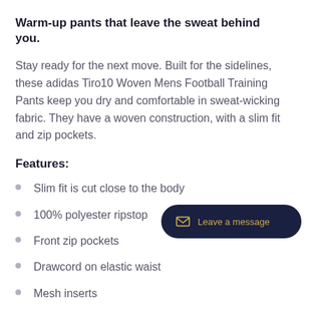Warm-up pants that leave the sweat behind you.
Stay ready for the next move. Built for the sidelines, these adidas Tiro10 Woven Mens Football Training Pants keep you dry and comfortable in sweat-wicking fabric. They have a woven construction, with a slim fit and zip pockets.
Features:
Slim fit is cut close to the body
100% polyester ripstop
Front zip pockets
Drawcord on elastic waist
Mesh inserts
Sweat-wicking Climalite fabric
Ripstop